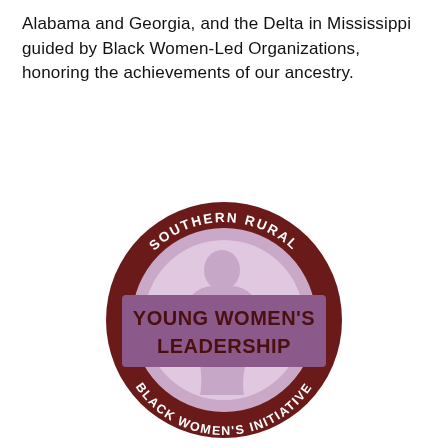Alabama and Georgia, and the Delta in Mississippi guided by Black Women-Led Organizations, honoring the achievements of our ancestry.
[Figure (logo): Southern Rural Young Women's Leadership Black Women's Initiative circular logo. A dark maroon ring with white arched text reading 'SOUTHERN RURAL' at the top and 'BLACK WOMEN'S INITIATIVE' at the bottom. Inside the ring is a light purple/lavender circle with a faded silhouette of a woman. A horizontal purple banner across the center reads 'YOUNG WOMEN'S LEADERSHIP' in bold dark maroon text.]